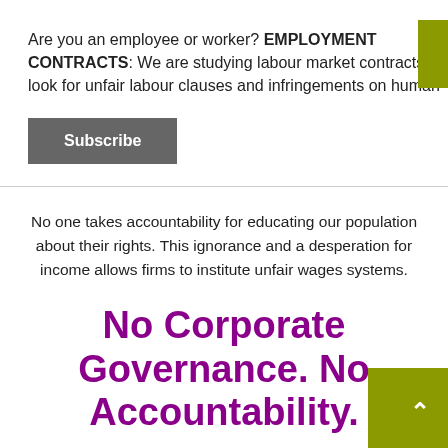Are you an employee or worker? EMPLOYMENT CONTRACTS: We are studying labour market contracts look for unfair labour clauses and infringements on human
Subscribe
No one takes accountability for educating our population about their rights. This ignorance and a desperation for income allows firms to institute unfair wages systems.
No Corporate Governance. No Accountability.
The lack of governance and destruction of support from institutions South Africans should be able to trust and count